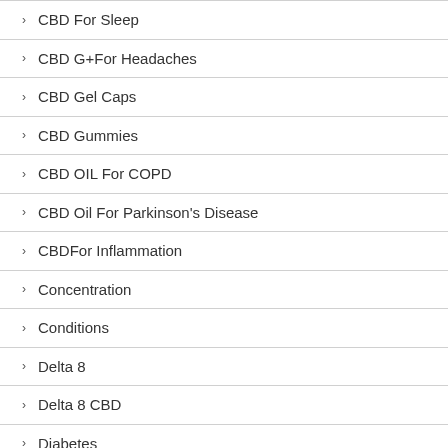CBD For Sleep
CBD G+For Headaches
CBD Gel Caps
CBD Gummies
CBD OIL For COPD
CBD Oil For Parkinson's Disease
CBDFor Inflammation
Concentration
Conditions
Delta 8
Delta 8 CBD
Diabetes